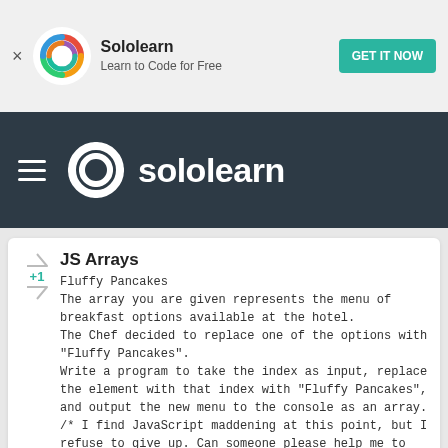[Figure (logo): Sololearn app advertisement banner with colorful spiral logo, text 'Sololearn - Learn to Code for Free', and a teal 'GET IT NOW' button]
sololearn navigation bar with hamburger menu and sololearn logo
JS Arrays
Fluffy Pancakes
The array you are given represents the menu of breakfast options available at the hotel.
The Chef decided to replace one of the options with "Fluffy Pancakes".
Write a program to take the index as input, replace the element with that index with "Fluffy Pancakes", and output the new menu to the console as an array.
/* I find JavaScript maddening at this point, but I refuse to give up. Can someone please help me to understand what the error or omission is here? Thank you. */
javascript
node.js